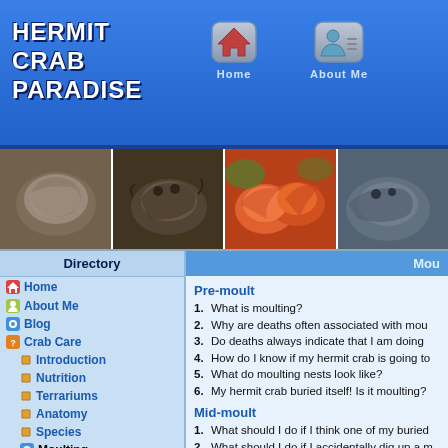Hermit Crab Paradise — Home | About Me
[Figure (screenshot): Website header with blue background showing Hermit Crab Paradise logo and navigation icons for Home and About Me]
[Figure (photo): Strip of four hermit crab photos]
Directory
Home
About Me
Blog
Crab Care
Introduction
Nutrition
Terrariums
Anatomy
Species
Moulting
Pre-moult
Mid-moult
Mou...
Pre-moult
1. What is moulting?
2. Why are deaths often associated with mou...
3. Do deaths always indicate that I am doing ...
4. How do I know if my hermit crab is going to...
5. What do moulting nests look like?
6. My hermit crab buried itself! Is it moulting?
Mid-moult
1. What should I do if I think one of my buried...
2. What should I do if I accidentally dig up a m...
3. What should I do if I have a surface moulte...
4. How do I distinguish a moulter from a dea...